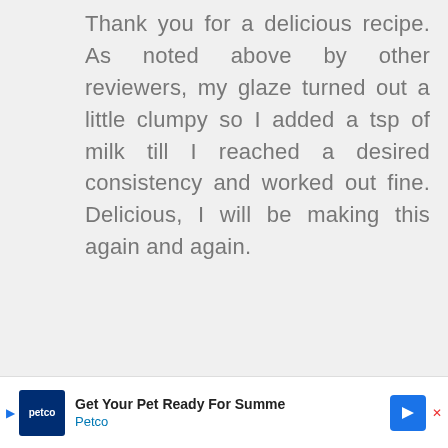Thank you for a delicious recipe. As noted above by other reviewers, my glaze turned out a little clumpy so I added a tsp of milk till I reached a desired consistency and worked out fine. Delicious, I will be making this again and again.
Reply
thedomesticrebel says
November 5, 2014 at 11:01 am
[Figure (other): Accessibility icon — blue circle with white stick-figure person in wheelchair]
Get Your Pet Ready For Summe Petco